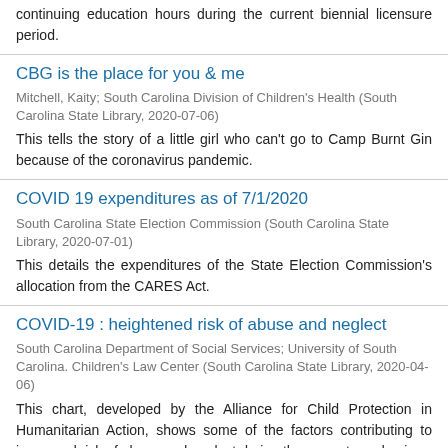continuing education hours during the current biennial licensure period.
CBG is the place for you & me
Mitchell, Kaity; South Carolina Division of Children's Health (South Carolina State Library, 2020-07-06)
This tells the story of a little girl who can't go to Camp Burnt Gin because of the coronavirus pandemic.
COVID 19 expenditures as of 7/1/2020
South Carolina State Election Commission (South Carolina State Library, 2020-07-01)
This details the expenditures of the State Election Commission's allocation from the CARES Act.
COVID-19 : heightened risk of abuse and neglect
South Carolina Department of Social Services; University of South Carolina. Children's Law Center (South Carolina State Library, 2020-04-06)
This chart, developed by the Alliance for Child Protection in Humanitarian Action, shows some of the factors contributing to increased risk of abuse and neglect during the current pandemic.